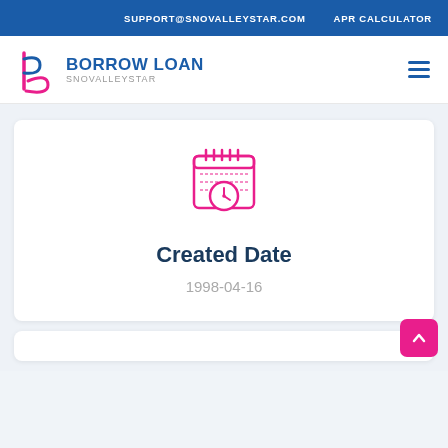SUPPORT@SNOVALLEYSTAR.COM   APR CALCULATOR
[Figure (logo): Borrow Loan Snovalleystar logo with stylized 'b' and circular arrow icon in pink/magenta, text BORROW LOAN in dark blue bold, SNOVALLEYSTAR in gray below]
Created Date
1998-04-16